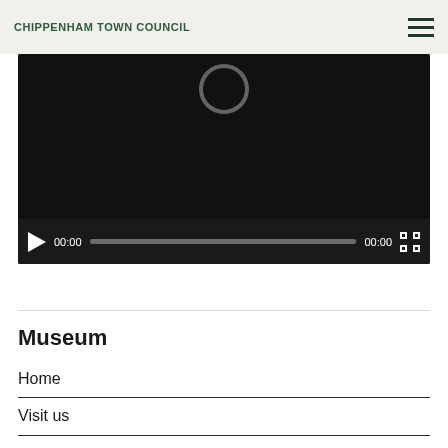CHIPPENHAM TOWN COUNCIL
[Figure (screenshot): Video player with dark background showing a loading/pause circle icon at top and playback controls at bottom including play button, 00:00 current time, progress bar, 00:00 total time, and fullscreen button]
Museum
Home
Visit us